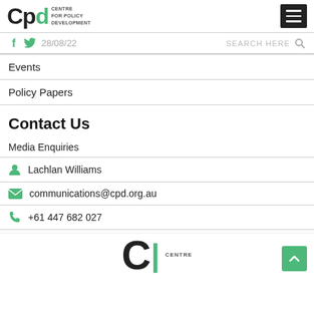CPD Centre for Policy Development — 28/08/22
Events
Policy Papers
Contact Us
Media Enquiries
Lachlan Williams
communications@cpd.org.au
+61 447 682 027
CPD Centre for Policy Development logo footer